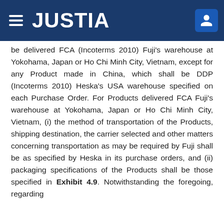JUSTIA
be delivered FCA (Incoterms 2010) Fuji's warehouse at Yokohama, Japan or Ho Chi Minh City, Vietnam, except for any Product made in China, which shall be DDP (Incoterms 2010) Heska's USA warehouse specified on each Purchase Order. For Products delivered FCA Fuji's warehouse at Yokohama, Japan or Ho Chi Minh City, Vietnam, (i) the method of transportation of the Products, shipping destination, the carrier selected and other matters concerning transportation as may be required by Fuji shall be as specified by Heska in its purchase orders, and (ii) packaging specifications of the Products shall be those specified in Exhibit 4.9. Notwithstanding the foregoing, regarding